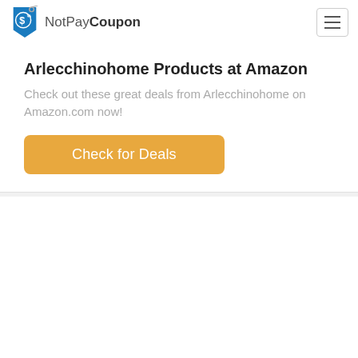NotPayCoupon
Arlecchinohome Products at Amazon
Check out these great deals from Arlecchinohome on Amazon.com now!
[Figure (other): Orange 'Check for Deals' button]